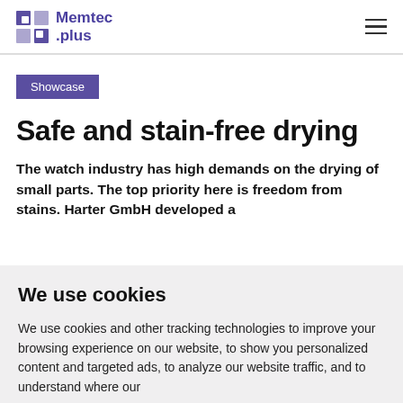Memtec .plus
Showcase
Safe and stain-free drying
The watch industry has high demands on the drying of small parts. The top priority here is freedom from stains. Harter GmbH developed a
We use cookies
We use cookies and other tracking technologies to improve your browsing experience on our website, to show you personalized content and targeted ads, to analyze our website traffic, and to understand where our